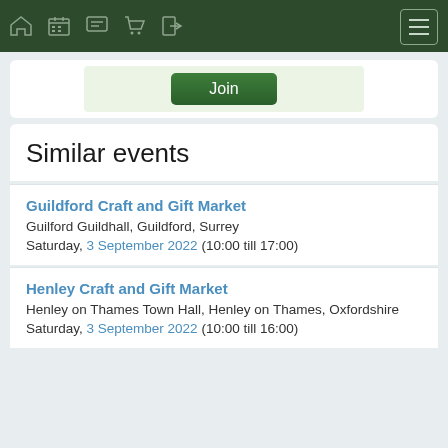Navigation bar with home, calendar, chat, cart, login icons and menu button
[Figure (screenshot): Join button in a light green card area]
Similar events
Guildford Craft and Gift Market
Guilford Guildhall, Guildford, Surrey
Saturday, 3 September 2022 (10:00 till 17:00)
Henley Craft and Gift Market
Henley on Thames Town Hall, Henley on Thames, Oxfordshire
Saturday, 3 September 2022 (10:00 till 16:00)